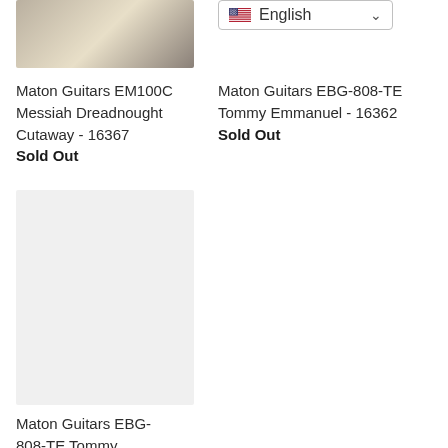[Figure (photo): Partial view of a guitar body (Maton Guitars EM100C Messiah Dreadnought Cutaway), cropped at top]
[Figure (screenshot): Language selector dropdown showing US flag and 'English' with chevron]
Maton Guitars EM100C Messiah Dreadnought Cutaway - 16367
Sold Out
Maton Guitars EBG-808-TE Tommy Emmanuel - 16362
Sold Out
[Figure (photo): Light gray placeholder image for Maton Guitars EBG-808-TE Tommy Emmanuel guitar product]
Maton Guitars EBG-808-TE Tommy